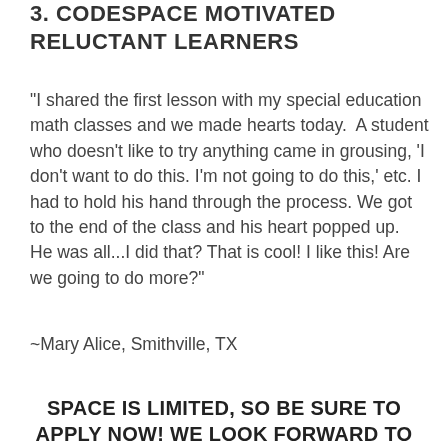3. CODESPACE MOTIVATED RELUCTANT LEARNERS
"I shared the first lesson with my special education math classes and we made hearts today.  A student who doesn't like to try anything came in grousing, 'I don't want to do this. I'm not going to do this,' etc. I had to hold his hand through the process. We got to the end of the class and his heart popped up.  He was all...I did that? That is cool! I like this! Are we going to do more?"
~Mary Alice, Smithville, TX
SPACE IS LIMITED, SO BE SURE TO APPLY NOW! WE LOOK FORWARD TO